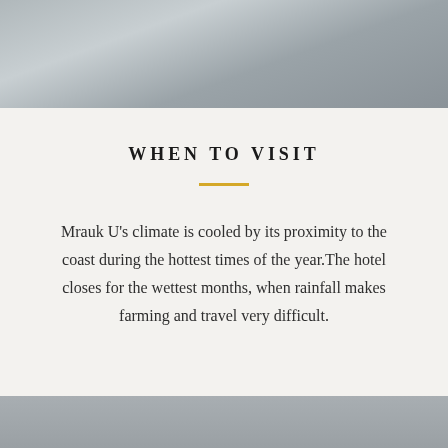[Figure (photo): Misty grey landscape photo banner at top of page]
WHEN TO VISIT
Mrauk U's climate is cooled by its proximity to the coast during the hottest times of the year.The hotel closes for the wettest months, when rainfall makes farming and travel very difficult.
[Figure (photo): Grey landscape photo banner at bottom of page]